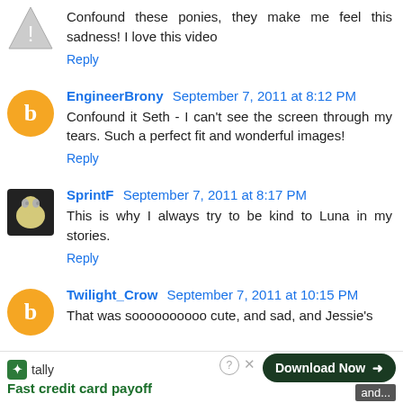Confound these ponies, they make me feel this sadness! I love this video
Reply
EngineerBrony September 7, 2011 at 8:12 PM
Confound it Seth - I can't see the screen through my tears. Such a perfect fit and wonderful images!
Reply
SprintF September 7, 2011 at 8:17 PM
This is why I always try to be kind to Luna in my stories.
Reply
Twilight_Crow September 7, 2011 at 10:15 PM
That was soooooooooo cute, and sad, and Jessie's and...